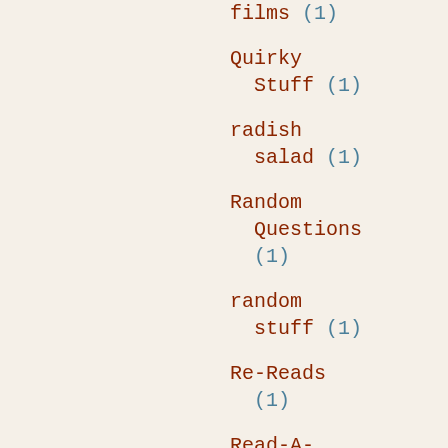films (1)
Quirky Stuff (1)
radish salad (1)
Random Questions (1)
random stuff (1)
Re-Reads (1)
Read-A-Romance Month (1)
reader-driven writing